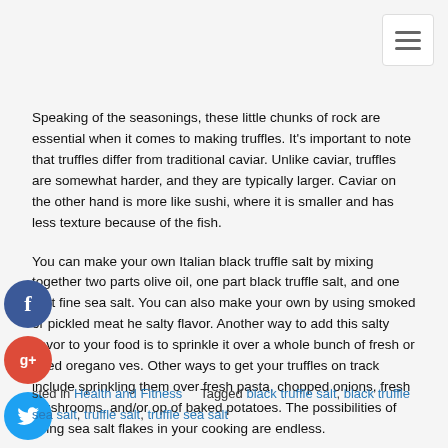[Figure (other): Hamburger menu button icon in top-right corner]
Speaking of the seasonings, these little chunks of rock are essential when it comes to making truffles. It's important to note that truffles differ from traditional caviar. Unlike caviar, truffles are somewhat harder, and they are typically larger. Caviar on the other hand is more like sushi, where it is smaller and has less texture because of the fish.
You can make your own Italian black truffle salt by mixing together two parts olive oil, one part black truffle salt, and one part fine sea salt. You can also make your own by using smoked or pickled meat he salty flavor. Another way to add this salty flavor to your food is to sprinkle it over a whole bunch of fresh or dried oregano ves. Other ways to get your truffles on track include sprinkling them over fresh pasta, chopped onions, fresh mushrooms, and/or op of baked potatoes. The possibilities of using sea salt flakes in your cooking are endless.
[Figure (other): Facebook social share button (blue circle with f)]
[Figure (other): Google+ social share button (red circle with g+)]
[Figure (other): Twitter social share button (blue circle with bird)]
[Figure (other): Add/share button (dark blue circle with plus sign)]
sted in Health and Fitness   Tagged black truffle salt, black truffle sea salt, truffle salt, truffle sea salt